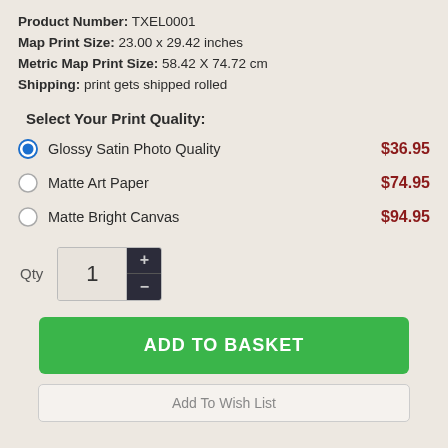Product Number: TXEL0001
Map Print Size: 23.00 x 29.42 inches
Metric Map Print Size: 58.42 X 74.72 cm
Shipping: print gets shipped rolled
Select Your Print Quality:
Glossy Satin Photo Quality  $36.95
Matte Art Paper  $74.95
Matte Bright Canvas  $94.95
Qty 1
ADD TO BASKET
Add To Wish List